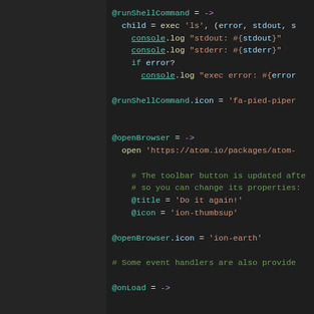[Figure (screenshot): Code editor screenshot showing CoffeeScript code with dark theme. Left sidebar panel (dark gray) and right code panel (dark background) with syntax-highlighted code including @runShellCommand, @openBrowser, and @onLoad function definitions.]